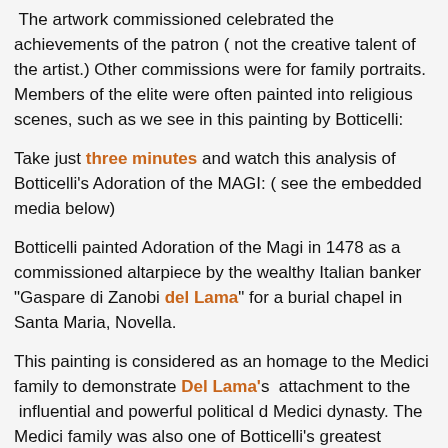The artwork commissioned celebrated the achievements of the patron ( not the creative talent of the artist.) Other commissions were for family portraits. Members of the elite were often painted into religious scenes, such as we see in this painting by Botticelli:
Take just three minutes and watch this analysis of Botticelli's Adoration of the MAGI: ( see the embedded media below)
Botticelli painted Adoration of the Magi in 1478 as a commissioned altarpiece by the wealthy Italian banker “Gaspare di Zanobi del Lama” for a burial chapel in Santa Maria, Novella.
This painting is considered as an homage to the Medici family to demonstrate Del Lama’s attachment to the influential and powerful political d Medici dynasty. The Medici family was also one of Botticelli’s greatest patrons that is why we find the whole Medici family portrayed in this painting. At this period, patrons commissioned portraits to present them in a most favorable light such as figures from mythology or the Bible. For example, Medici family is presented in Botticelli’s Adoration of the Magi as figures from old biblical scenes that shows that...